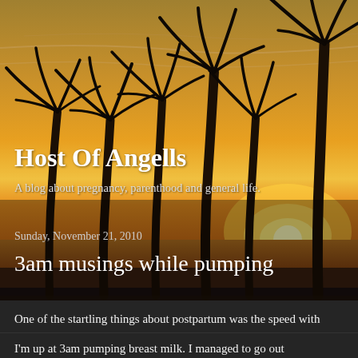[Figure (photo): Sunset beach scene with silhouettes of tall palm trees against an orange and golden sky, with the sun setting over the ocean horizon.]
Host Of Angells
A blog about pregnancy, parenthood and general life.
Sunday, November 21, 2010
3am musings while pumping
One of the startling things about postpartum was the speed with which I returned to my pre-pregnant state. My nose bleeds stopped immediately. My food cravings vanished, although some of my aversions stayed, no nausea, just a general aversion. My skin is back to normal and my hair is oily again. Fascinating.
I'm up at 3am pumping breast milk. I managed to go out